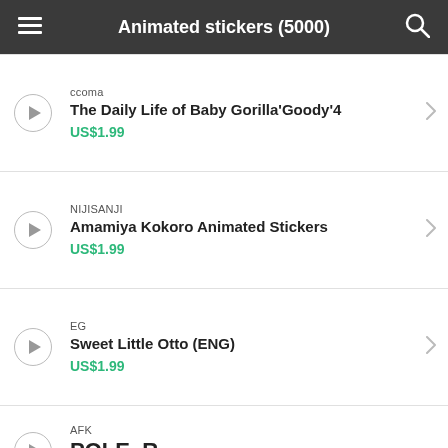Animated stickers (5000)
ccoma
The Daily Life of Baby Gorilla'Goody'4
US$1.99
NIJISANJI
Amamiya Kokoro Animated Stickers
US$1.99
EG
Sweet Little Otto (ENG)
US$1.99
AFK
POLE_R